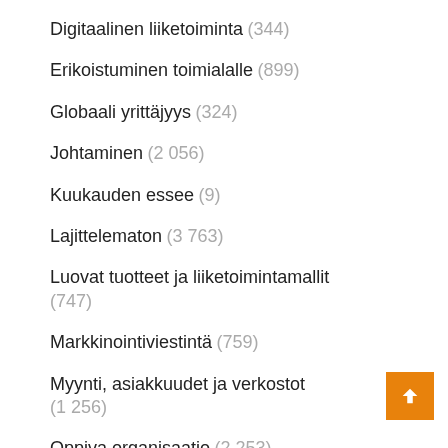Digitaalinen liiketoiminta (344)
Erikoistuminen toimialalle (899)
Globaali yrittäjyys (324)
Johtaminen (2 056)
Kuukauden essee (9)
Lajittelematon (3 763)
Luovat tuotteet ja liiketoimintamallit (747)
Markkinointiviestintä (759)
Myynti, asiakkuudet ja verkostot (1 256)
Oppiva organisaatio (2 253)